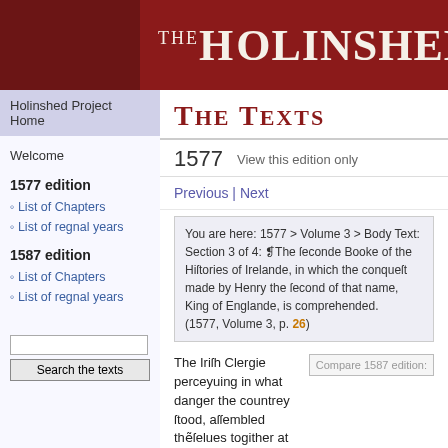THE HOLINSHED P
Holinshed Project Home
THE TEXTS
Welcome
1577 edition
List of Chapters
List of regnal years
1587 edition
List of Chapters
List of regnal years
1577   View this edition only
Previous | Next
You are here: 1577 > Volume 3 > Body Text: Section 3 of 4: ❡The ſeconde Booke of the Hiſtories of Irelande, in which the conqueſt made by Henry the ſecond of that name, King of Englande, is comprehended.
(1577, Volume 3, p. 26)
The Iriſh Clergie perceyuing in what danger the countrey ſtood, aſſembled thẽſelues togither at Ardmagh, and with one accord proteſted, that for their finnes, & ſpecially for their barbarous kind of tyrannie which they vſed in buying and ſelling, and vilely abu
Compare 1587 edition:
Search the texts